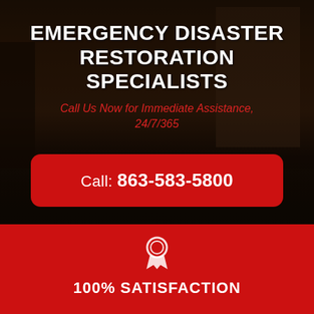[Figure (photo): Dark flooded room interior with bookshelf and water on the floor, used as background image]
EMERGENCY DISASTER RESTORATION SPECIALISTS
Call Us Now for Immediate Assistance, 24/7/365
Call: 863-583-5800
[Figure (illustration): Award/ribbon icon in white on red background]
100% SATISFACTION